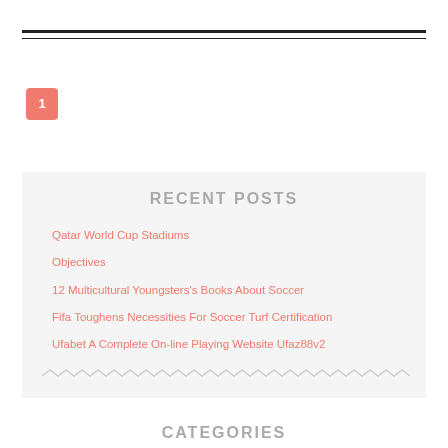1
RECENT POSTS
Qatar World Cup Stadiums
Objectives
12 Multicultural Youngsters's Books About Soccer
Fifa Toughens Necessities For Soccer Turf Certification
Ufabet A Complete On-line Playing Website Ufaz88v2
CATEGORIES